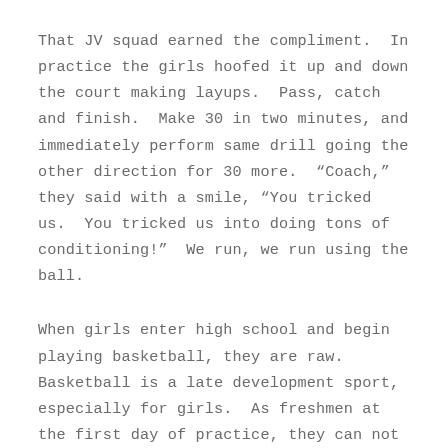That JV squad earned the compliment.  In practice the girls hoofed it up and down the court making layups.  Pass, catch and finish.  Make 30 in two minutes, and immediately perform same drill going the other direction for 30 more.  “Coach,” they said with a smile, “You tricked us.  You tricked us into doing tons of conditioning!”  We run, we run using the ball.
When girls enter high school and begin playing basketball, they are raw.  Basketball is a late development sport, especially for girls.  As freshmen at the first day of practice, they can not dribble the length of the court at speed and make a layup.  The ball hits the backboard and caroms back to the free throw line.  But they improve so fast.  Soon enough